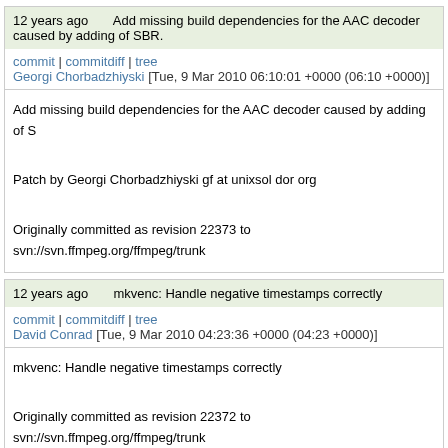12 years ago  Add missing build dependencies for the AAC decoder caused by adding of SBR.
commit | commitdiff | tree
Georgi Chorbadzhiyski [Tue, 9 Mar 2010 06:10:01 +0000 (06:10 +0000)]
Add missing build dependencies for the AAC decoder caused by adding of S

Patch by Georgi Chorbadzhiyski gf at unixsol dor org

Originally committed as revision 22373 to svn://svn.ffmpeg.org/ffmpeg/trunk
12 years ago  mkvenc: Handle negative timestamps correctly
commit | commitdiff | tree
David Conrad [Tue, 9 Mar 2010 04:23:36 +0000 (04:23 +0000)]
mkvenc: Handle negative timestamps correctly

Originally committed as revision 22372 to svn://svn.ffmpeg.org/ffmpeg/trunk